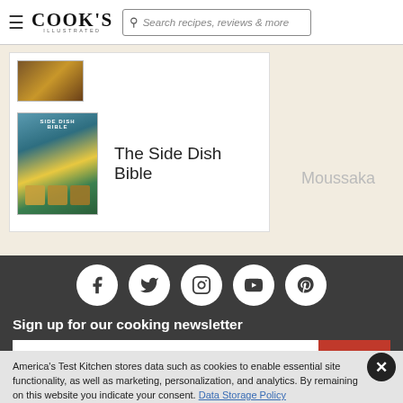Cook's Illustrated — Search recipes, reviews & more
[Figure (photo): Small book cover thumbnail at top of card list]
The Side Dish Bible
Moussaka
[Figure (infographic): Social media icons: Facebook, Twitter, Instagram, YouTube, Pinterest]
Sign up for our cooking newsletter
America's Test Kitchen stores data such as cookies to enable essential site functionality, as well as marketing, personalization, and analytics. By remaining on this website you indicate your consent. Data Storage Policy